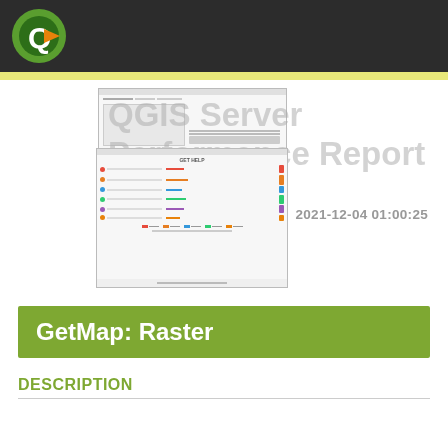QGIS Server Performance Report
[Figure (screenshot): Top mini preview of a report page showing a chart thumbnail]
QGIS Server Performance Report
[Figure (screenshot): Bottom mini preview of a report page showing colorful bar charts and legend]
2021-12-04 01:00:25
GetMap: Raster
DESCRIPTION